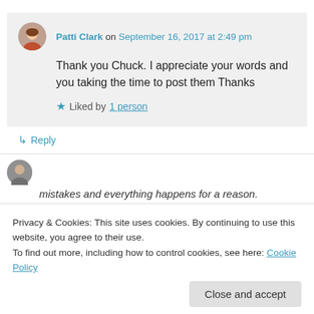Patti Clark on September 16, 2017 at 2:49 pm
Thank you Chuck. I appreciate your words and you taking the time to post them Thanks
★ Liked by 1 person
↳ Reply
Privacy & Cookies: This site uses cookies. By continuing to use this website, you agree to their use. To find out more, including how to control cookies, see here: Cookie Policy
Close and accept
mistakes and everything happens for a reason.